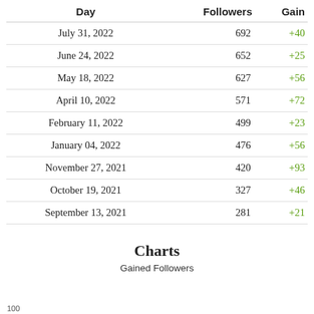| Day | Followers | Gain |
| --- | --- | --- |
| July 31, 2022 | 692 | +40 |
| June 24, 2022 | 652 | +25 |
| May 18, 2022 | 627 | +56 |
| April 10, 2022 | 571 | +72 |
| February 11, 2022 | 499 | +23 |
| January 04, 2022 | 476 | +56 |
| November 27, 2021 | 420 | +93 |
| October 19, 2021 | 327 | +46 |
| September 13, 2021 | 281 | +21 |
Charts
Gained Followers